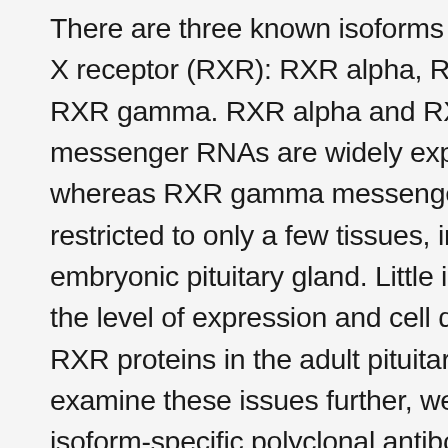There are three known isoforms of the retinoid-X receptor (RXR): RXR alpha, RXR beta, and RXR gamma. RXR alpha and RXR beta messenger RNAs are widely expressed, whereas RXR gamma messenger RNA is restricted to only a few tissues, including embryonic pituitary gland. Little is known about the level of expression and cell distribution of RXR proteins in the adult pituitary gland. To examine these issues further, we raised isoform-specific polyclonal antibodies against each of the known mouse RXR isoforms using synthetic peptides containing isoform-specific epitopes from the amino-terminal region. The specificity of each antibody was confirmed by immunoprecipitation, Western immunoblot analysis, and